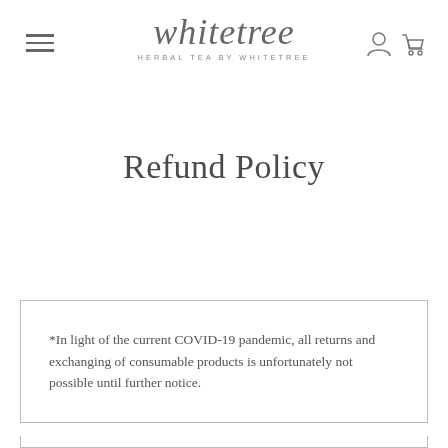whitetree — HERBAL TEA BY WHITETREE
Refund Policy
*In light of the current COVID-19 pandemic, all returns and exchanging of consumable products is unfortunately not possible until further notice.